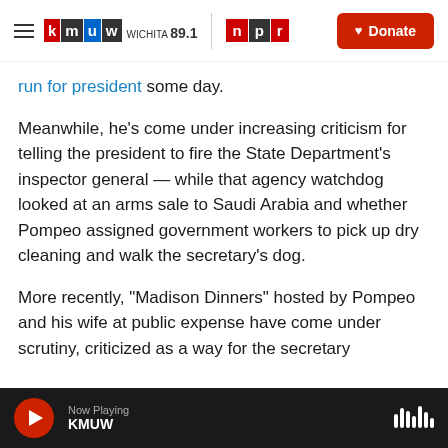[Figure (logo): KMUW Wichita 89.1 and NPR logos with Donate button in header]
run for president some day.
Meanwhile, he’s come under increasing criticism for telling the president to fire the State Department’s inspector general — while that agency watchdog looked at an arms sale to Saudi Arabia and whether Pompeo assigned government workers to pick up dry cleaning and walk the secretary’s dog.
More recently, “Madison Dinners” hosted by Pompeo and his wife at public expense have come under scrutiny, criticized as a way for the secretary
Now Playing KMUW